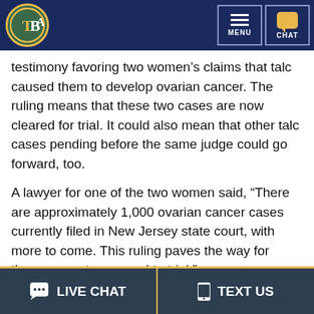TBLA logo with MENU and CHAT navigation buttons
testimony favoring two women’s claims that talc caused them to develop ovarian cancer. The ruling means that these two cases are now cleared for trial. It could also mean that other talc cases pending before the same judge could go forward, too.
A lawyer for one of the two women said, “There are approximately 1,000 ovarian cancer cases currently filed in New Jersey state court, with more to come. This ruling paves the way for those cases to proceed to trial.”
The outcome was not what J&J expected. Based
LIVE CHAT   TEXT US